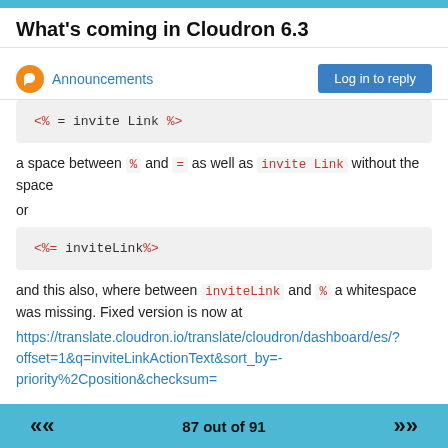What's coming in Cloudron 6.3
Announcements
[Figure (screenshot): Code block showing: <%= invite Link %>]
a space between % and = as well as invite Link without the space
or
[Figure (screenshot): Code block showing: <%=  inviteLink%>]
and this also, where between inviteLink and % a whitespace was missing. Fixed version is now at https://translate.cloudron.io/translate/cloudron/dashboard/es/?offset=1&q=inviteLinkActionText&sort_by=-priority%2Cposition&checksum=
87 out of 91